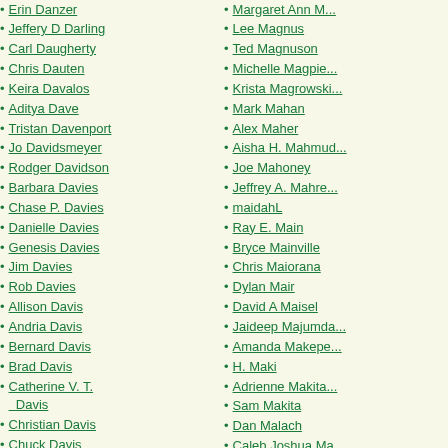Erin Danzer
Jeffery D Darling
Carl Daugherty
Chris Dauten
Keira Davalos
Aditya Dave
Tristan Davenport
Jo Davidsmeyer
Rodger Davidson
Barbara Davies
Chase P. Davies
Danielle Davies
Genesis Davies
Jim Davies
Rob Davies
Allison Davis
Andria Davis
Bernard Davis
Brad Davis
Catherine V. T. Davis
Christian Davis
Chuck Davis
Galen Davis
Helen E. Davis
India Davis
Jack Davis
Margaret Ann M...
Lee Magnus
Ted Magnuson
Michelle Magpie...
Krista Magrowski...
Mark Mahan
Alex Maher
Aisha H. Mahmud...
Joe Mahoney
Jeffrey A. Mahre...
maidahL
Ray E. Main
Bryce Mainville
Chris Maiorana
Dylan Mair
David A Maisel
Jaideep Majumda...
Amanda Makepe...
H. Maki
Adrienne Makita...
Sam Makita
Dan Malach
Caleb Joshua Ma...
Holly Malette
Jacob Malewitz
usman tanveer m...
Stephanie Maller...